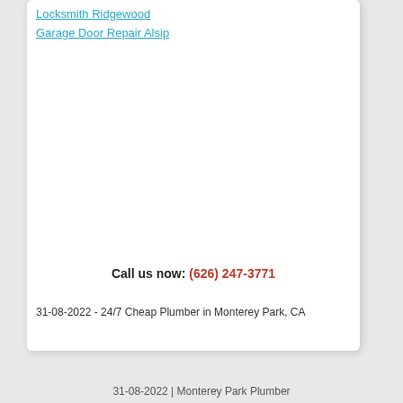Locksmith Ridgewood
Garage Door Repair Alsip
Call us now: (626) 247-3771
31-08-2022 - 24/7 Cheap Plumber in Monterey Park, CA
31-08-2022 | Monterey Park Plumber